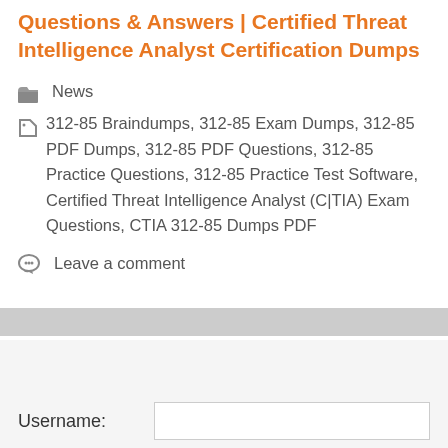Questions & Answers | Certified Threat Intelligence Analyst Certification Dumps
News
312-85 Braindumps, 312-85 Exam Dumps, 312-85 PDF Dumps, 312-85 PDF Questions, 312-85 Practice Questions, 312-85 Practice Test Software, Certified Threat Intelligence Analyst (C|TIA) Exam Questions, CTIA 312-85 Dumps PDF
Leave a comment
Username: